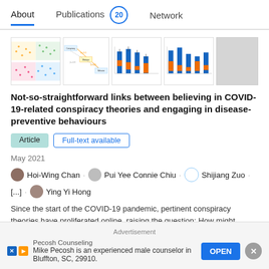About   Publications 20   Network
[Figure (screenshot): Thumbnail images of research paper figures including scatter plots and bar charts]
Not-so-straightforward links between believing in COVID-19-related conspiracy theories and engaging in disease-preventive behaviours
Article
Full-text available
May 2021
Hoi-Wing Chan · Pui Yee Connie Chiu · Shijiang Zuo · [...] · Ying Yi Hong
Since the start of the COVID-19 pandemic, pertinent conspiracy theories have proliferated online, raising the question: How might believing in those conspiracy theories be linked with engagement in disease-preventive behaviours? To answer this
Advertisement
Pecosh Counseling
Mike Pecosh is an experienced male counselor in Bluffton, SC, 29910.
OPEN